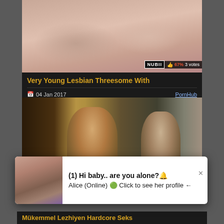[Figure (screenshot): Video thumbnail showing adult content with NUBILE watermark badge, 67% rating, 3 votes]
Very Young Lesbian Threesome With
04 Jan 2017   PornHub
[Figure (screenshot): Video thumbnail showing two women facing each other in a room]
(1) Hi baby.. are you alone?🔔
Alice (Online) 🟢 Click to see her profile ←
Mükemmel Lezhiyen Hardcore Seks